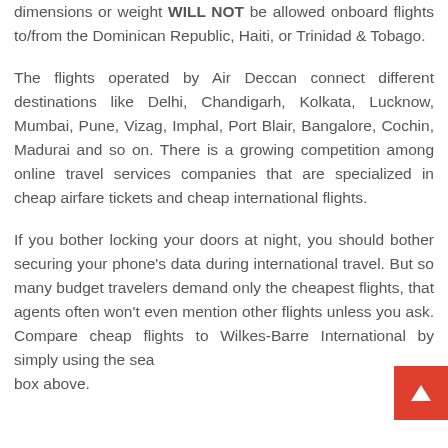dimensions or weight WILL NOT be allowed onboard flights to/from the Dominican Republic, Haiti, or Trinidad & Tobago.
The flights operated by Air Deccan connect different destinations like Delhi, Chandigarh, Kolkata, Lucknow, Mumbai, Pune, Vizag, Imphal, Port Blair, Bangalore, Cochin, Madurai and so on. There is a growing competition among online travel services companies that are specialized in cheap airfare tickets and cheap international flights.
If you bother locking your doors at night, you should bother securing your phone's data during international travel. But so many budget travelers demand only the cheapest flights, that agents often won't even mention other flights unless you ask. Compare cheap flights to Wilkes-Barre International by simply using the search box above.